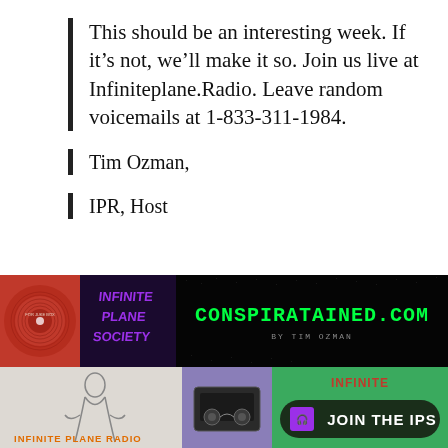This should be an interesting week. If it’s not, we’ll make it so. Join us live at Infiniteplane.Radio. Leave random voicemails at 1-833-311-1984.
Tim Ozman,
IPR, Host
[Figure (illustration): Grid of promotional images for Infinite Plane Society and related media: vinyl record, IPS logo, Conspiratained.com banner, Infinite Plane Radio sketch art, cassette, JOIN THE IPS button, and partial bottom row images.]